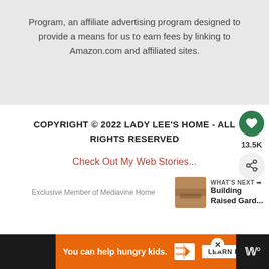Program, an affiliate advertising program designed to provide a means for us to earn fees by linking to Amazon.com and affiliated sites.
COPYRIGHT © 2022 LADY LEE'S HOME - ALL RIGHTS RESERVED
Check Out My Web Stories...
13.5K
Exclusive Member of Mediavine Home
WHAT'S NEXT → Building Raised Gard...
You can help hungry kids.
LEARN HOW